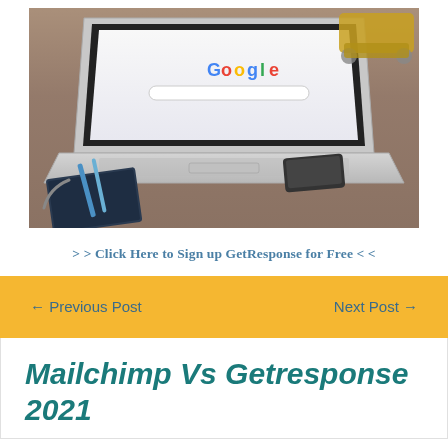[Figure (photo): A laptop on a wooden desk showing Google search page, with a smartphone, notebook and pens beside it, and a toy/object in the background.]
> > Click Here to Sign up GetResponse for Free < <
← Previous Post
Next Post →
Mailchimp Vs Getresponse 2021